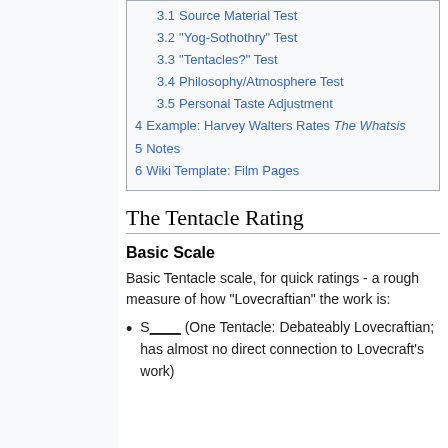3.1 Source Material Test
3.2 "Yog-Sothothry" Test
3.3 "Tentacles?" Test
3.4 Philosophy/Atmosphere Test
3.5 Personal Taste Adjustment
4 Example: Harvey Walters Rates The Whatsis
5 Notes
6 Wiki Template: Film Pages
The Tentacle Rating
Basic Scale
Basic Tentacle scale, for quick ratings - a rough measure of how "Lovecraftian" the work is:
S____ (One Tentacle: Debateably Lovecraftian; has almost no direct connection to Lovecraft's work)